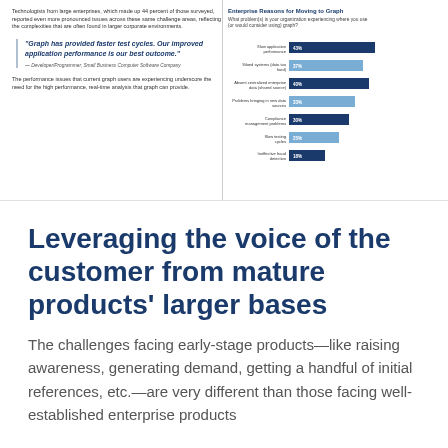Technologists from large enterprises, which made up 44 percent of those surveyed, reported even more pronounced issues across these same challenge areas, reflecting the complexities that are often found in larger corporate environments.
"Graph has provided faster test cycles. Our improved application performance is our best outcome."
— Developer/Programmer, Small Business Computer Software Company
The performance issues that current graph users are experiencing underscore the need for the high performance, real-time analysis that graph can provide.
Enterprise Reasons for Moving to Graph
What problem(s) is your organization experiencing where you use (or would consider using) graph?
[Figure (bar-chart): Enterprise Reasons for Moving to Graph]
Leveraging the voice of the customer from mature products' larger bases
The challenges facing early-stage products—like raising awareness, generating demand, getting a handful of initial references, etc.—are very different than those facing well-established enterprise products